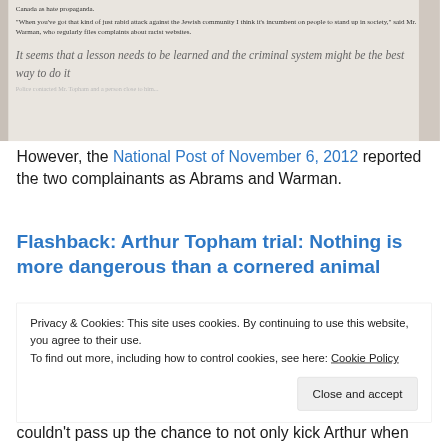[Figure (screenshot): Screenshot of a newspaper or article page showing text about the Jewish community and a pullquote: 'It seems that a lesson needs to be learned and the criminal system might be the best way to do it']
However, the National Post of November 6, 2012 reported the two complainants as Abrams and Warman.
Flashback: Arthur Topham trial: Nothing is more dangerous than a cornered animal
Privacy & Cookies: This site uses cookies. By continuing to use this website, you agree to their use.
To find out more, including how to control cookies, see here: Cookie Policy
couldn't pass up the chance to not only kick Arthur when